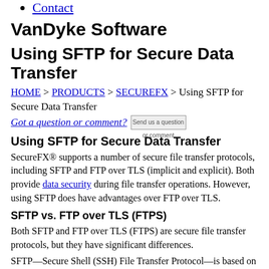Contact
VanDyke Software
Using SFTP for Secure Data Transfer
HOME > PRODUCTS > SECUREFX > Using SFTP for Secure Data Transfer
Got a question or comment?  Send us a question or comment
Using SFTP for Secure Data Transfer
SecureFX® supports a number of secure file transfer protocols, including SFTP and FTP over TLS (implicit and explicit). Both provide data security during file transfer operations. However, using SFTP does have advantages over FTP over TLS.
SFTP vs. FTP over TLS (FTPS)
Both SFTP and FTP over TLS (FTPS) are secure file transfer protocols, but they have significant differences.
SFTP—Secure Shell (SSH) File Transfer Protocol—is based on the